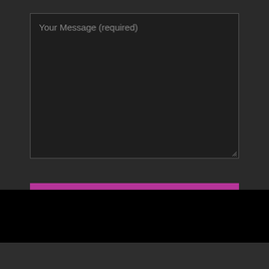[Figure (screenshot): A dark-themed web contact form showing a large textarea with placeholder text 'Your Message (required)', a magenta/pink 'Send' button below it, followed by a black section and a dark gray footer section.]
Your Message (required)
Send